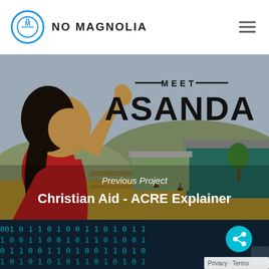NO MAGNOLIA
[Figure (illustration): Animated illustration showing a character (girl with dark hair in a red top) waving, with text 'MEET ASANDA' overlaid. Background shows African village scene with buildings and fields.]
Previous Project
Christian Aid - ACRE Explainer
[Figure (screenshot): Bottom strip showing binary/digital number pattern in teal/cyan on dark background, with a share button and Privacy/Terms links.]